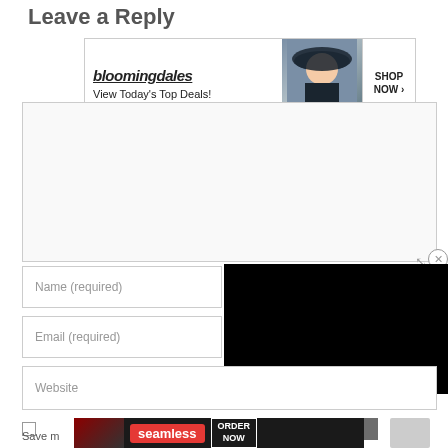Leave a Reply
[Figure (screenshot): Bloomingdale's banner ad: logo, 'View Today's Top Deals!', model with hat, SHOP NOW button]
Your c[omment]
[Figure (screenshot): Black video/media overlay panel in the right portion of the page]
Name (required)
Email (required)
Website
CLOSE
[Figure (screenshot): Seamless food delivery banner ad: pizza image, seamless red logo, ORDER NOW button]
Save m[y name, email, and website in this browser] for